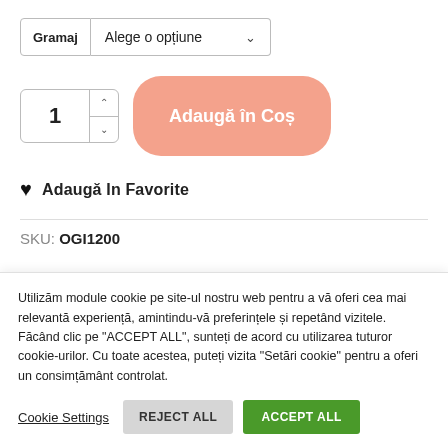Gramaj   Alege o opțiune
1   Adaugă în Coș
♥ Adaugă In Favorite
SKU: OGI1200
Utilizăm module cookie pe site-ul nostru web pentru a vă oferi cea mai relevantă experiență, amintindu-vă preferințele și repetând vizitele. Făcând clic pe "ACCEPT ALL", sunteți de acord cu utilizarea tuturor cookie-urilor. Cu toate acestea, puteți vizita "Setări cookie" pentru a oferi un consimțământ controlat.
Cookie Settings   REJECT ALL   ACCEPT ALL